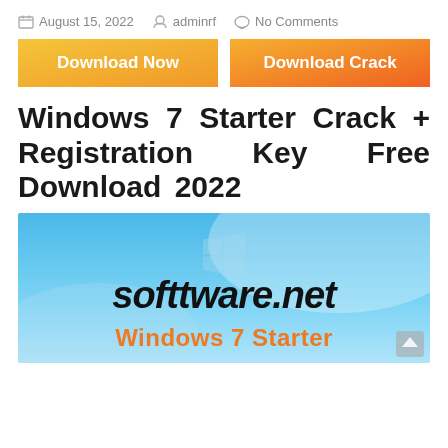August 15, 2022  adminrf  No Comments
[Figure (other): Two orange download buttons: 'Download Now' and 'Download Crack']
Windows 7 Starter Crack + Registration Key Free Download 2022
[Figure (photo): Screenshot showing a blue Windows 7 desktop background with the Windows logo, text 'softtware.net' in bold italic black, and 'Windows 7 Starter' in orange below it.]